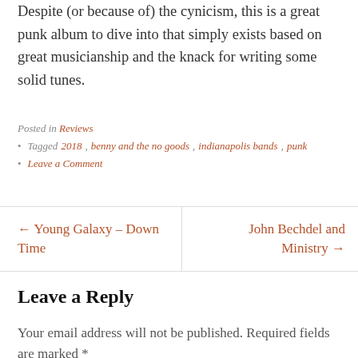Despite (or because of) the cynicism, this is a great punk album to dive into that simply exists based on great musicianship and the knack for writing some solid tunes.
Posted in Reviews • Tagged 2018, benny and the no goods, indianapolis bands, punk • Leave a Comment
← Young Galaxy – Down Time
John Bechdel and Ministry →
Leave a Reply
Your email address will not be published. Required fields are marked *